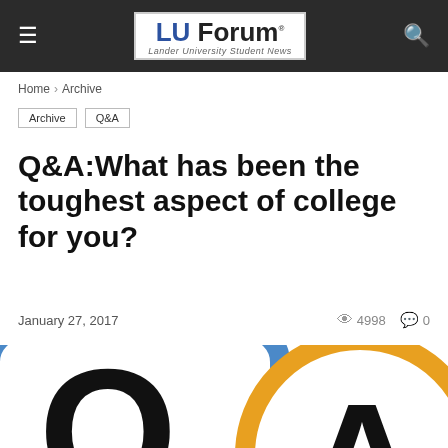LU Forum — Lander University Student News
Home > Archive
Archive  Q&A
Q&A:What has been the toughest aspect of college for you?
January 27, 2017   👁 4998   💬 0
[Figure (illustration): Q&A graphic showing a blue rounded square card with a large black Q and an orange circle with a large black A, representing a Q&A theme.]